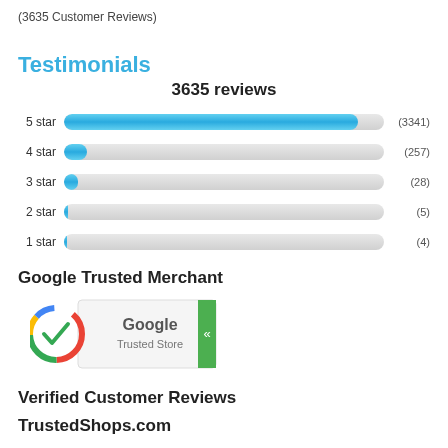(3635 Customer Reviews)
Testimonials
[Figure (bar-chart): 3635 reviews]
Google Trusted Merchant
[Figure (logo): Google Trusted Store badge with Google logo circle and green checkmark]
Verified Customer Reviews
TrustedShops.com